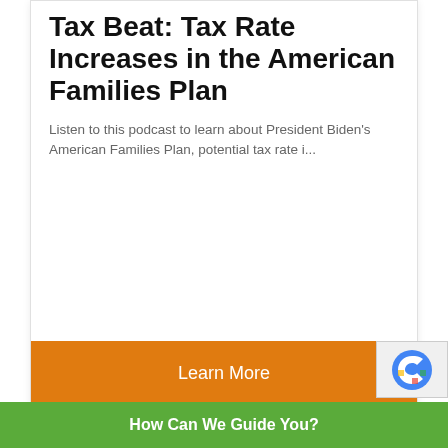Tax Beat: Tax Rate Increases in the American Families Plan
Listen to this podcast to learn about President Biden's American Families Plan, potential tax rate i...
Learn More
How Can We Guide You?